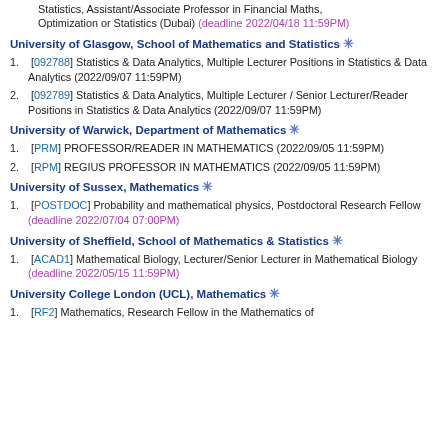Statistics, Assistant/Associate Professor in Financial Maths, Optimization or Statistics (Dubai) (deadline 2022/04/18 11:59PM)
University of Glasgow, School of Mathematics and Statistics ✳
[092788] Statistics & Data Analytics, Multiple Lecturer Positions in Statistics & Data Analytics (2022/09/07 11:59PM)
[092789] Statistics & Data Analytics, Multiple Lecturer / Senior Lecturer/Reader Positions in Statistics & Data Analytics (2022/09/07 11:59PM)
University of Warwick, Department of Mathematics ✳
[PRM] PROFESSOR/READER IN MATHEMATICS (2022/09/05 11:59PM)
[RPM] REGIUS PROFESSOR IN MATHEMATICS (2022/09/05 11:59PM)
University of Sussex, Mathematics ✳
[POSTDOC] Probability and mathematical physics, Postdoctoral Research Fellow (deadline 2022/07/04 07:00PM)
University of Sheffield, School of Mathematics & Statistics ✳
[ACAD1] Mathematical Biology, Lecturer/Senior Lecturer in Mathematical Biology (deadline 2022/05/15 11:59PM)
University College London (UCL), Mathematics ✳
[RF2] Mathematics, Research Fellow in the Mathematics of